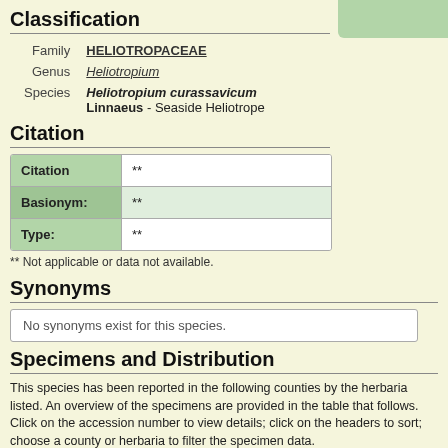Classification
|  |  |
| --- | --- |
| Family | HELIOTROPACEAE |
| Genus | Heliotropium |
| Species | Heliotropium curassavicum
Linnaeus - Seaside Heliotrope |
Citation
| Citation | ** |
| --- | --- |
| Basionym: | ** |
| Type: | ** |
** Not applicable or data not available.
Synonyms
No synonyms exist for this species.
Specimens and Distribution
This species has been reported in the following counties by the herbaria listed. An overview of the specimens are provided in the table that follows. Click on the accession number to view details; click on the headers to sort; choose a county or herbaria to filter the specimen data.
Counties included on distribution map: Baldwin, Mobile
Herbaria represented by specimen data listed below: ALNHS, AMAL, AUA, TROY, UNA